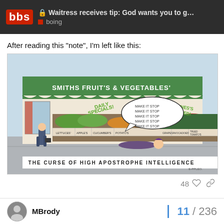Waitress receives tip: God wants you to go ... boing
After reading this “note”, I’m left like this:
[Figure (illustration): Cartoon titled 'THE CURSE OF HIGH APOSTROPHE INTELLIGENCE'. A fruit and vegetable shop with sign 'SMITHS FRUIT’S & VEGETABLES’' with signs reading 'DAILY SPECIALS!', 'FRESHNESS’S AS’SURED!', product labels 'LETTUCES’ APPLE’S CUCUMBER’S POTATO’S GRAPES’ AVOCADOES’ TRUED TOMATO’S'. A person lying on the ground with a speech bubble saying 'MAKE IT STOP' five times, while a businessman walks past.]
48 ♥ 🔗
MBrody
11 / 236